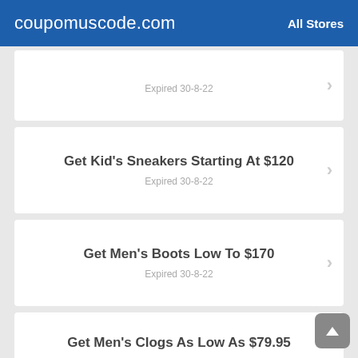coupomuscode.com  All Stores
Expired 30-8-22
Get Kid's Sneakers Starting At $120
Expired 30-8-22
Get Men's Boots Low To $170
Expired 30-8-22
Get Men's Clogs As Low As $79.95